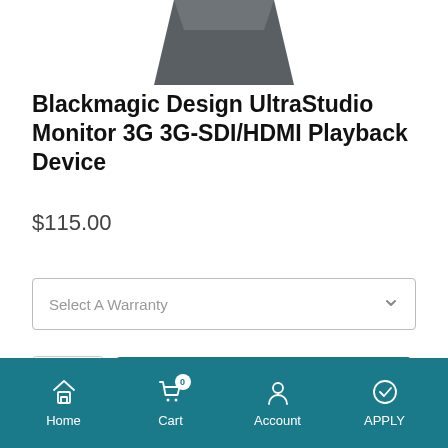[Figure (photo): Partial view of Blackmagic Design UltraStudio Monitor 3G device, showing bottom portion of the product in dark grey/charcoal color against white background]
Blackmagic Design UltraStudio Monitor 3G 3G-SDI/HDMI Playback Device
$115.00
Select A Warranty
1  Add to cart
OR
Home  Cart 0  Account  APPLY